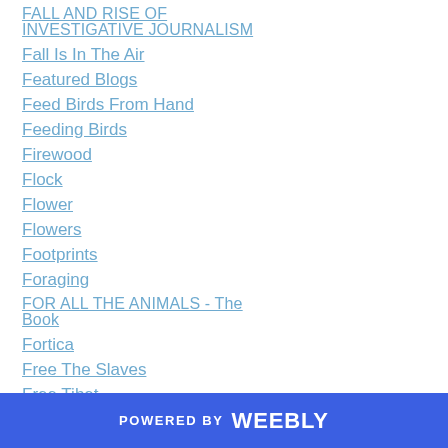FALL AND RISE OF INVESTIGATIVE JOURNALISM
Fall Is In The Air
Featured Blogs
Feed Birds From Hand
Feeding Birds
Firewood
Flock
Flower
Flowers
Footprints
Foraging
FOR ALL THE ANIMALS - The Book
Fortica
Free The Slaves
Free Tibet
POWERED BY weebly